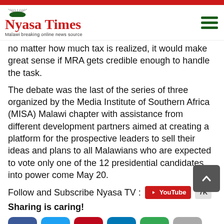Nyasa Times — Malawi breaking online news source
no matter how much tax is realized, it would make great sense if MRA gets credible enough to handle the task.
The debate was the last of the series of three organized by the Media Institute of Southern Africa (MISA) Malawi chapter with assistance from different development partners aimed at creating a platform for the prospective leaders to sell their ideas and plans to all Malawians who are expected to vote only one of the 12 presidential candidates into power come May 20.
Follow and Subscribe Nyasa TV :
Sharing is caring!
0 SHARES